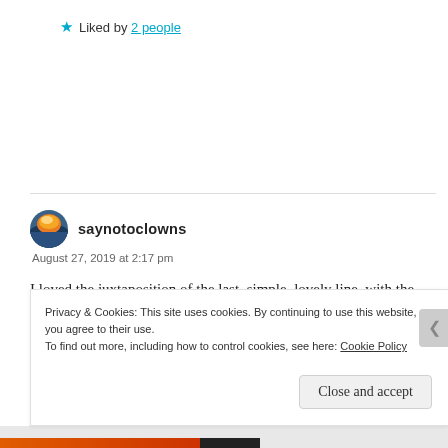★ Liked by 2 people
saynotoclowns
August 27, 2019 at 2:17 pm
I loved the juxtaposition of the last, simple, lovely line, with the whirlwind preceding it. That made me smile.
"quilting move of sand by a beach" – for some reason this
Privacy & Cookies: This site uses cookies. By continuing to use this website, you agree to their use.
To find out more, including how to control cookies, see here: Cookie Policy
Close and accept